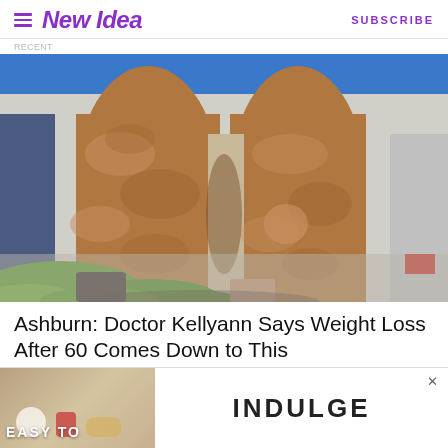New Idea   SUBSCRIBE
RECENT
[Figure (photo): Close-up photo of a person's legs from mid-thigh down, wearing a blue outfit, standing on pavement with green bushes visible. A car door is partially visible on the right.]
Ashburn: Doctor Kellyann Says Weight Loss After 60 Comes Down to This
[Figure (infographic): Advertisement banner reading 'EASY TO INDULGE' with food/drink imagery on the left side and an X close button.]